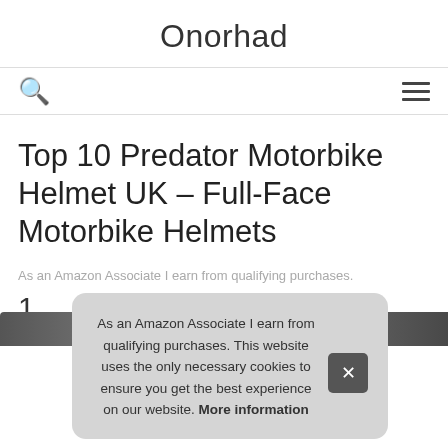Onorhad
Top 10 Predator Motorbike Helmet UK – Full-Face Motorbike Helmets
As an Amazon Associate I earn from qualifying purchases.
1.
As an Amazon Associate I earn from qualifying purchases. This website uses the only necessary cookies to ensure you get the best experience on our website. More information